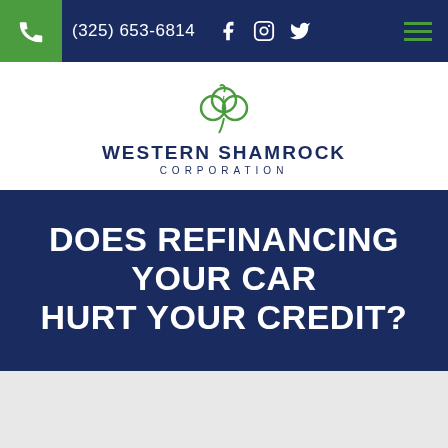(325) 653-6814
[Figure (logo): Western Shamrock Corporation logo with green shamrock icon and dark navy text]
DOES REFINANCING YOUR CAR HURT YOUR CREDIT?
[Figure (photo): Light gray background photo, partially visible at bottom of page]